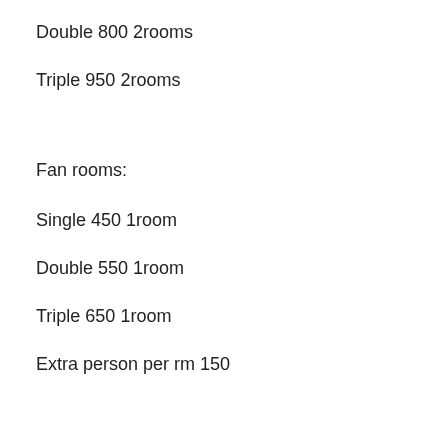Double 800 2rooms
Triple 950 2rooms
Fan rooms:
Single 450 1room
Double 550 1room
Triple 650 1room
Extra person per rm 150